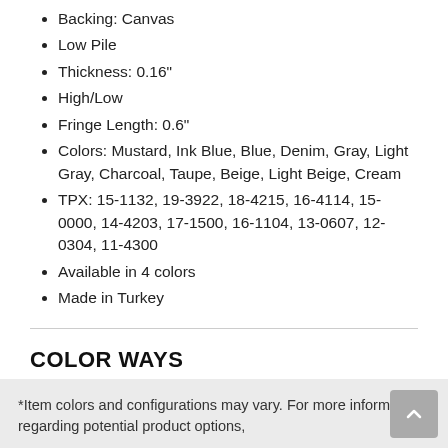Backing: Canvas
Low Pile
Thickness: 0.16"
High/Low
Fringe Length: 0.6"
Colors: Mustard, Ink Blue, Blue, Denim, Gray, Light Gray, Charcoal, Taupe, Beige, Light Beige, Cream
TPX: 15-1132, 19-3922, 18-4215, 16-4114, 15-0000, 14-4203, 17-1500, 16-1104, 13-0607, 12-0304, 11-4300
Available in 4 colors
Made in Turkey
COLOR WAYS
*Item colors and configurations may vary. For more information regarding potential product options,